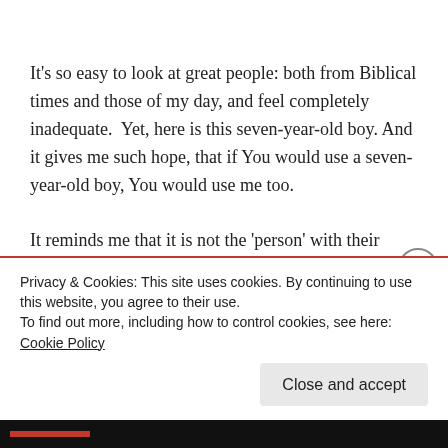It's so easy to look at great people: both from Biblical times and those of my day, and feel completely inadequate.  Yet, here is this seven-year-old boy. And it gives me such hope, that if You would use a seven-year-old boy, You would use me too.
It reminds me that it is not the 'person' with their talents, gifts, skills, and abilities that accomplishes anything. It is You! You are the One! It is Your power which accomplishes Your will. What You can do with any person who is sold out to You, is limitless! Even a seven-year-old
Privacy & Cookies: This site uses cookies. By continuing to use this website, you agree to their use.
To find out more, including how to control cookies, see here: Cookie Policy
Close and accept